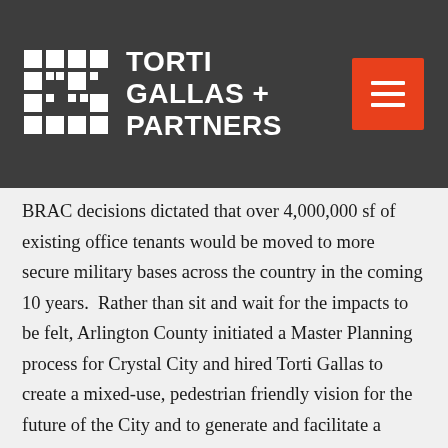TORTI GALLAS + PARTNERS
BRAC decisions dictated that over 4,000,000 sf of existing office tenants would be moved to more secure military bases across the country in the coming 10 years.  Rather than sit and wait for the impacts to be felt, Arlington County initiated a Master Planning process for Crystal City and hired Torti Gallas to create a mixed-use, pedestrian friendly vision for the future of the City and to generate and facilitate a public process to see this Master Plan through to realization.
Several urban concepts were investigated through